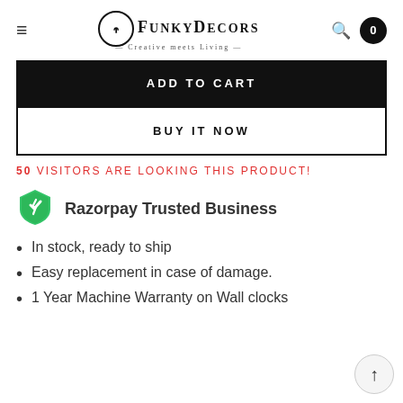FunkyDecors — Creative meets Living
ADD TO CART
BUY IT NOW
50 VISITORS ARE LOOKING THIS PRODUCT!
[Figure (logo): Razorpay green shield logo with a lightning bolt]
Razorpay Trusted Business
In stock, ready to ship
Easy replacement in case of damage.
1 Year Machine Warranty on Wall clocks